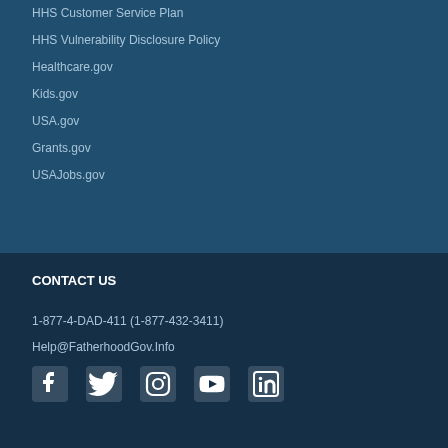HHS Customer Service Plan
HHS Vulnerability Disclosure Policy
Healthcare.gov
Kids.gov
USA.gov
Grants.gov
USAJobs.gov
CONTACT US
1-877-4-DAD-411 (1-877-432-3411)
Help@FatherhoodGov.Info
[Figure (other): Social media icons: Facebook, Twitter, Instagram, YouTube, LinkedIn]